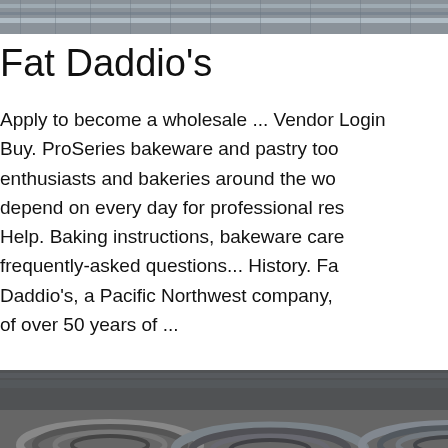[Figure (photo): Top strip showing metal rods/rebar texture in gray tones]
Fat Daddio's
Apply to become a wholesale ... Vendor Login ... Buy. ProSeries bakeware and pastry tools enthusiasts and bakeries around the world depend on every day for professional res... Help. Baking instructions, bakeware care frequently-asked questions... History. Fat Daddio's, a Pacific Northwest company, of over 50 years of ...
[Figure (photo): Sidebar showing woman with headset on dark blue background with 24/7 Online header, Click here for free chat! text, and QUOTATION button]
[Figure (photo): Get Price green button]
[Figure (photo): Bottom image showing coiled metal wire rods in industrial setting with TOP logo overlay]